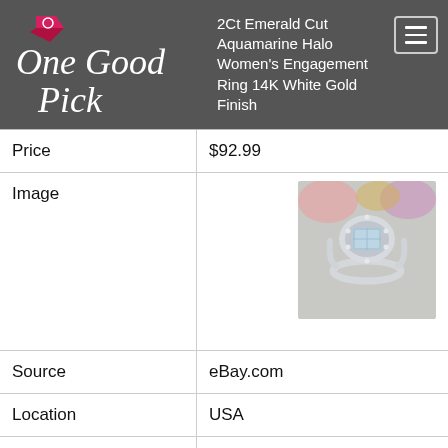One Good Pick — 2Ct Emerald Cut Aquamarine Halo Women's Engagement Ring 14K White Gold Finish
| Field | Value |
| --- | --- |
| Price | $92.99 |
| Image | [product image] |
| Source | eBay.com |
| Location | USA |
| Posted | 8/10/2022 |
| Title | 2Ct Emerald Cut Simulated Aquamarine & Diamond Women' Ring |